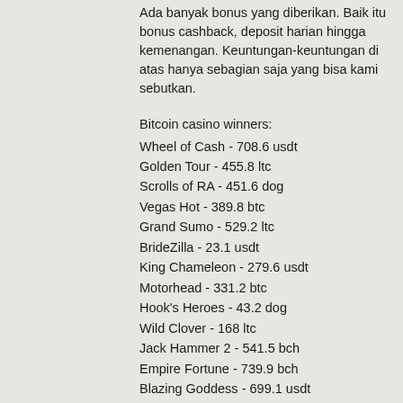Ada banyak bonus yang diberikan. Baik itu bonus cashback, deposit harian hingga kemenangan. Keuntungan-keuntungan di atas hanya sebagian saja yang bisa kami sebutkan.
Bitcoin casino winners:
Wheel of Cash - 708.6 usdt
Golden Tour - 455.8 ltc
Scrolls of RA - 451.6 dog
Vegas Hot - 389.8 btc
Grand Sumo - 529.2 ltc
BrideZilla - 23.1 usdt
King Chameleon - 279.6 usdt
Motorhead - 331.2 btc
Hook's Heroes - 43.2 dog
Wild Clover - 168 ltc
Jack Hammer 2 - 541.5 bch
Empire Fortune - 739.9 bch
Blazing Goddess - 699.1 usdt
Burning Desire - 659.7 btc
Western Wilderness - 221.1 usdt